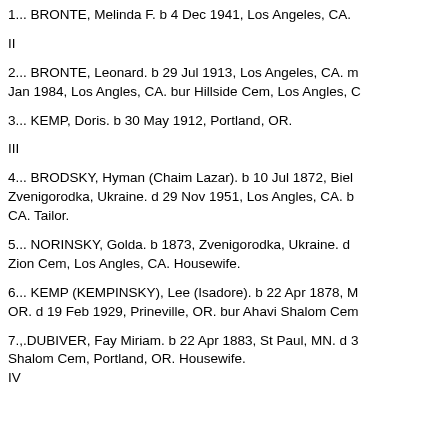1... BRONTE, Melinda F. b 4 Dec 1941, Los Angeles, CA.
II
2... BRONTE, Leonard. b 29 Jul 1913, Los Angeles, CA. m Jan 1984, Los Angles, CA. bur Hillside Cem, Los Angles, C
3... KEMP, Doris. b 30 May 1912, Portland, OR.
III
4... BRODSKY, Hyman (Chaim Lazar). b 10 Jul 1872, Biel Zvenigorodka, Ukraine. d 29 Nov 1951, Los Angles, CA. b CA. Tailor.
5... NORINSKY, Golda. b 1873, Zvenigorodka, Ukraine. d Zion Cem, Los Angles, CA. Housewife.
6... KEMP (KEMPINSKY), Lee (Isadore). b 22 Apr 1878, M OR. d 19 Feb 1929, Prineville, OR. bur Ahavi Shalom Cem
7.,.DUBIVER, Fay Miriam. b 22 Apr 1883, St Paul, MN. d 3 Shalom Cem, Portland, OR. Housewife.
IV